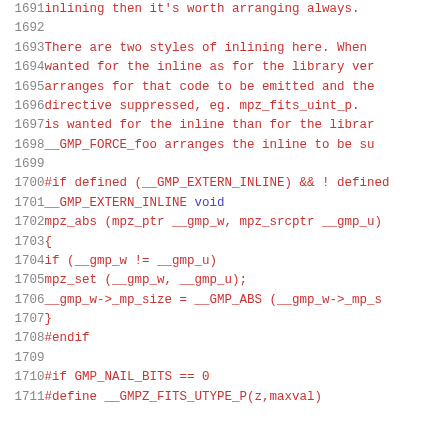Source code listing lines 1691-1711, showing C/GMP library inline code with comments and preprocessor directives.